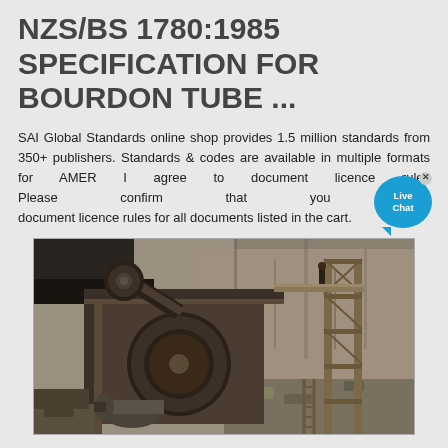NZS/BS 1780:1985 SPECIFICATION FOR BOURDON TUBE ...
SAI Global Standards online shop provides 1.5 million standards from 350+ publishers. Standards & codes are available in multiple formats for AMER I agree to document licence rules Please confirm that you agree document licence rules for all documents listed in the cart.
[Figure (photo): Industrial machinery photo showing a large crusher or mining equipment with belt drives, scaffolding/stairs, and rocky terrain in the background. Heavy industrial setting.]